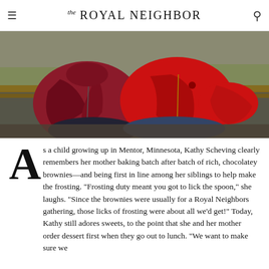the Royal Neighbor
[Figure (photo): Two people sitting on a bench outdoors, both wearing red/maroon fleece jackets. One person is holding something small in their hand. Background shows green grass and what appears to be wooden benches or a fence.]
As a child growing up in Mentor, Minnesota, Kathy Scheving clearly remembers her mother baking batch after batch of rich, chocolatey brownies—and being first in line among her siblings to help make the frosting. "Frosting duty meant you got to lick the spoon," she laughs. "Since the brownies were usually for a Royal Neighbors gathering, those licks of frosting were about all we'd get!" Today, Kathy still adores sweets, to the point that she and her mother order dessert first when they go out to lunch. "We want to make sure we